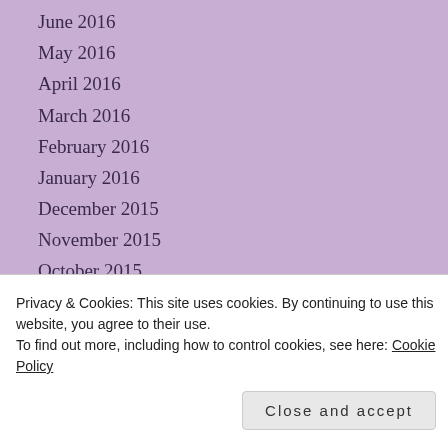June 2016
May 2016
April 2016
March 2016
February 2016
January 2016
December 2015
November 2015
October 2015
September 2015
August 2015
July 2015
June 2015
Privacy & Cookies: This site uses cookies. By continuing to use this website, you agree to their use.
To find out more, including how to control cookies, see here: Cookie Policy
Close and accept